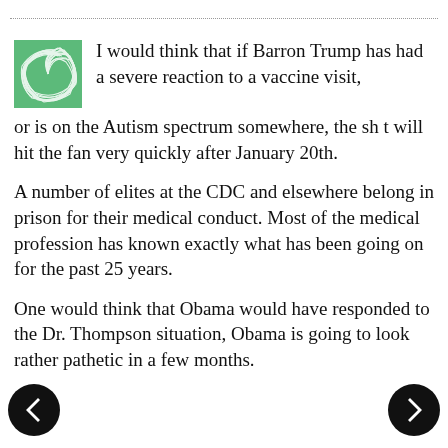I would think that if Barron Trump has had a severe reaction to a vaccine visit, or is on the Autism spectrum somewhere, the sh t will hit the fan very quickly after January 20th.
A number of elites at the CDC and elsewhere belong in prison for their medical conduct. Most of the medical profession has known exactly what has been going on for the past 25 years.
One would think that Obama would have responded to the Dr. Thompson situation, Obama is going to look rather pathetic in a few months.